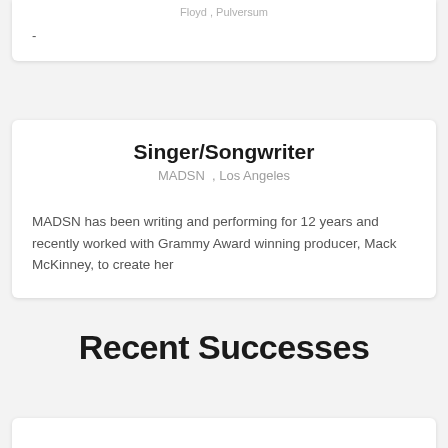Floyd , Pulversum
-
Singer/Songwriter
MADSN  , Los Angeles
MADSN has been writing and performing for 12 years and recently worked with Grammy Award winning producer, Mack McKinney, to create her
Recent Successes